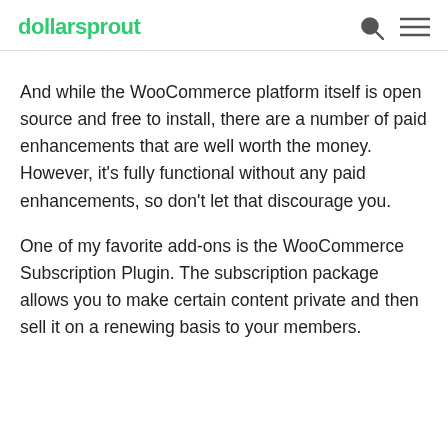dollarsprout
And while the WooCommerce platform itself is open source and free to install, there are a number of paid enhancements that are well worth the money. However, it’s fully functional without any paid enhancements, so don’t let that discourage you.
One of my favorite add-ons is the WooCommerce Subscription Plugin. The subscription package allows you to make certain content private and then sell it on a renewing basis to your members.